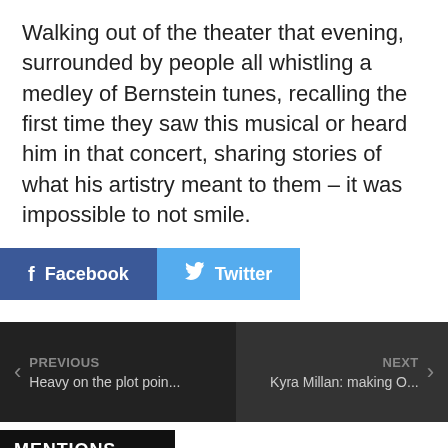Walking out of the theater that evening, surrounded by people all whistling a medley of Bernstein tunes, recalling the first time they saw this musical or heard him in that concert, sharing stories of what his artistry meant to them – it was impossible to not smile.
f Facebook   🐦 Twitter
< PREVIOUS Heavy on the plot poin...
NEXT > Kyra Millan: making O...
MENTIONS